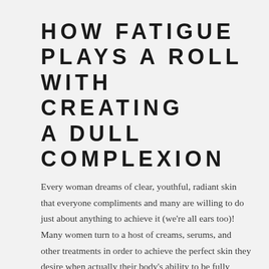HOW FATIGUE PLAYS A ROLL WITH CREATING A DULL COMPLEXION
Every woman dreams of clear, youthful, radiant skin that everyone compliments and many are willing to do just about anything to achieve it (we're all ears too)!  Many women turn to a host of creams, serums, and other treatments in order to achieve the perfect skin they desire when actually their body's ability to be fully rested can have more to do with